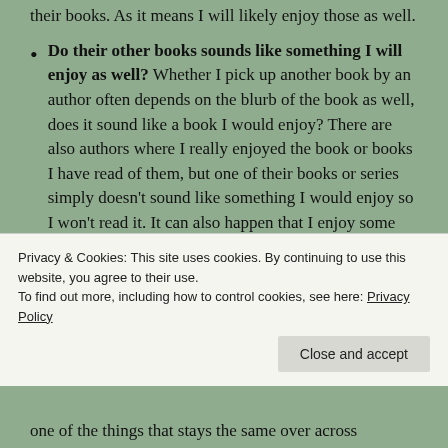their books. As it means I will likely enjoy those as well.
Do their other books sounds like something I will enjoy as well? Whether I pick up another book by an author often depends on the blurb of the book as well, does it sound like a book I would enjoy? There are also authors where I really enjoyed the book or books I have read of them, but one of their books or series simply doesn’t sound like something I would enjoy so I won’t read it. It can also happen that I enjoy some books by an author and others not. So it does depends on what their other books
Privacy & Cookies: This site uses cookies. By continuing to use this website, you agree to their use.
To find out more, including how to control cookies, see here: Privacy Policy
one of the things that stays the same over across